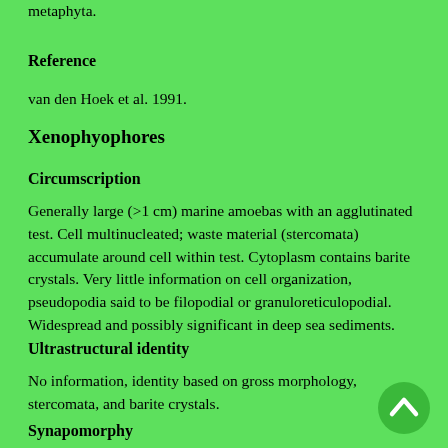metaphyta.
Reference
van den Hoek et al. 1991.
Xenophyophores
Circumscription
Generally large (>1 cm) marine amoebas with an agglutinated test. Cell multinucleated; waste material (stercomata) accumulate around cell within test. Cytoplasm contains barite crystals. Very little information on cell organization, pseudopodia said to be filopodial or granuloreticulopodial. Widespread and possibly significant in deep sea sediments.
Ultrastructural identity
No information, identity based on gross morphology, stercomata, and barite crystals.
Synapomorphy